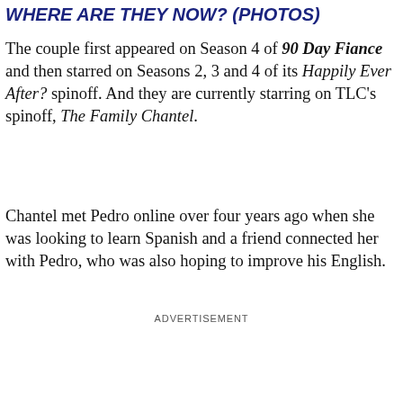WHERE ARE THEY NOW? (PHOTOS)
The couple first appeared on Season 4 of 90 Day Fiance and then starred on Seasons 2, 3 and 4 of its Happily Ever After? spinoff. And they are currently starring on TLC’s spinoff, The Family Chantel.
Chantel met Pedro online over four years ago when she was looking to learn Spanish and a friend connected her with Pedro, who was also hoping to improve his English.
ADVERTISEMENT